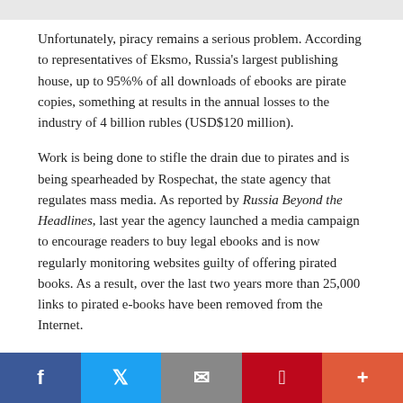Unfortunately, piracy remains a serious problem. According to representatives of Eksmo, Russia's largest publishing house, up to 95%% of all downloads of ebooks are pirate copies, something at results in the annual losses to the industry of 4 billion rubles (USD$120 million).
Work is being done to stifle the drain due to pirates and is being spearheaded by Rospechat, the state agency that regulates mass media. As reported by Russia Beyond the Headlines, last year the agency launched a media campaign to encourage readers to buy legal ebooks and is now regularly monitoring websites guilty of offering pirated books. As a result, over the last two years more than 25,000 links to pirated e-books have been removed from the Internet.
f  Twitter  Email  Pinterest  +